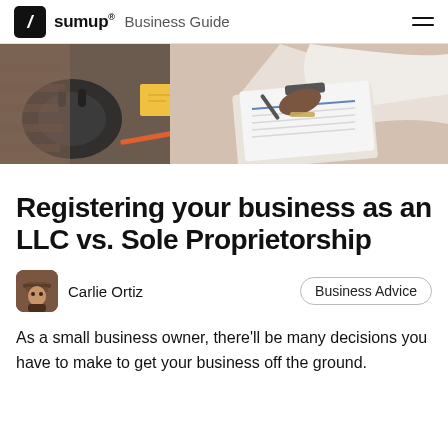sumup® Business Guide
[Figure (photo): Overhead view of a person writing on a clipboard at a desk with headphones, sticky notes, and other desk items]
Registering your business as an LLC vs. Sole Proprietorship
Carlie Ortiz
Business Advice
As a small business owner, there'll be many decisions you have to make to get your business off the ground.